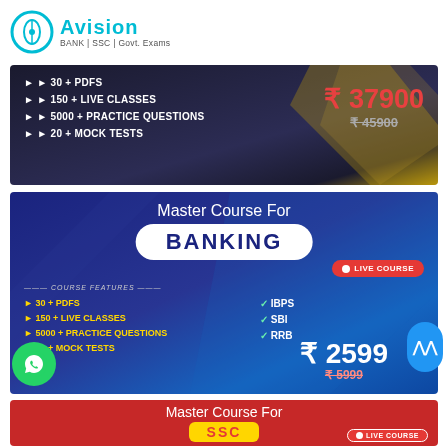[Figure (logo): Avision logo with cyan circle icon and text 'AVISION BANK|SSC|Govt. Exams']
[Figure (infographic): Dark banner with course features: 30+ PDFs, 150+ Live Classes, 5000+ Practice Questions, 20+ Mock Tests. Price ₹37900 (was ₹45900)]
[Figure (infographic): Blue banner: Master Course For BANKING. Live Course badge. Course Features: 30+ PDFs, 150+ Live Classes, 5000+ Practice Questions, 20+ Mock Tests. IBPS, SBI, RRB. Price ₹2599 (was ₹5999)]
[Figure (infographic): Red banner: Master Course For SSC. Live Course badge.]